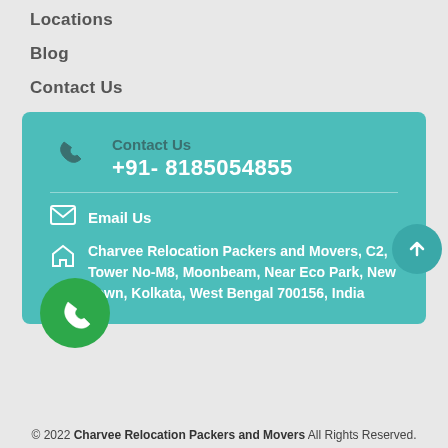Locations
Blog
Contact Us
Contact Us
+91- 8185054855
Email Us
Charvee Relocation Packers and Movers, C2, Tower No-M8, Moonbeam, Near Eco Park, New Town, Kolkata, West Bengal 700156, India
© 2022 Charvee Relocation Packers and Movers All Rights Reserved.